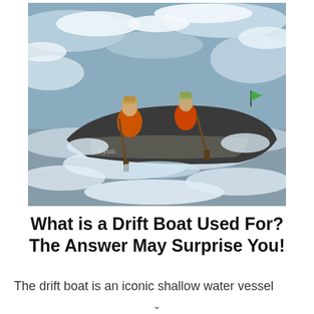[Figure (photo): Two people in orange life vests paddling a drift boat (labeled 'Mystic') through turbulent whitewater rapids.]
What is a Drift Boat Used For? The Answer May Surprise You!
The drift boat is an iconic shallow water vessel